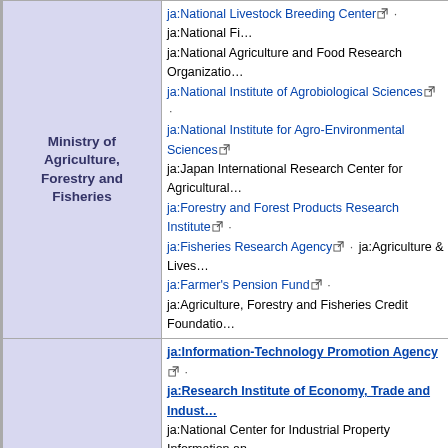| Ministry | Agencies / Organizations |
| --- | --- |
| Ministry of Agriculture, Forestry and Fisheries | ja:National Livestock Breeding Center · ja:National Fi... ja:National Agriculture and Food Research Organization... ja:National Institute of Agrobiological Sciences · ja:National Institute for Agro-Environmental Sciences... ja:Japan International Research Center for Agricultural... ja:Forestry and Forest Products Research Institute · ... ja:Fisheries Research Agency · ja:Agriculture & Lives... ja:Farmer's Pension Fund · ja:Agriculture, Forestry and Fisheries Credit Foundation... |
| Ministry of Economy, Trade and Industry | ja:Information-Technology Promotion Agency · ja:Research Institute of Economy, Trade and Indust... ja:National Center for Industrial Property Information an... Nippon Export and Investment Insurance · National Institute of Advanced Industrial Science an... National Institute of Technology and Evaluation · New Energy and Industrial Technology Development... Japan External Trade Organization · ja:Japan Nuclear E... ja:Information-technology Promotion Agency · Japan Oil, Gas and Metals National Corporation · ja:Organization for Small & Medium Enterprises and Re... |
|  | ja:Public Works Research Institute · ja:Building Rese... ja:National Traffic Safety and Environment Laboratory... ja:National Maritime Research Institute · ja:Port and A... ja:Electronic Navigation Research Institute · ja:Natio... |